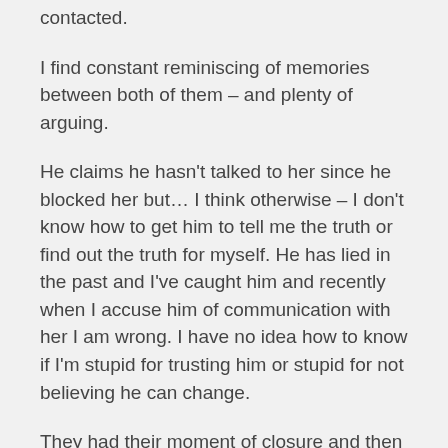contacted.
I find constant reminiscing of memories between both of them – and plenty of arguing.
He claims he hasn't talked to her since he blocked her but… I think otherwise – I don't know how to get him to tell me the truth or find out the truth for myself. He has lied in the past and I've caught him and recently when I accuse him of communication with her I am wrong. I have no idea how to know if I'm stupid for trusting him or stupid for not believing he can change.
They had their moment of closure and then a week later he piled all of her stuff he had